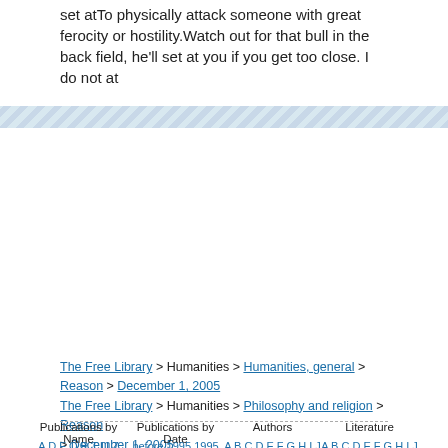set atTo physically attack someone with great ferocity or hostility.Watch out for that bull in the back field, he'll set at you if you get too close. I do not at
[Figure (other): Diagonal striped decorative bar separator]
The Free Library > Humanities > Humanities, general > Reason > December 1, 2005
The Free Library > Humanities > Philosophy and religion > Reason
> December 1, 2005
The Free Library > Social Sciences > Political science > Reason > December 1, 2005
The Free Library > Date > 2005 > December > 1 > Reason
Publications by Name | Publications by Date | Authors | Literature
A D F O R T U Z | before 1995 1995 1990 | A B C D E F G H I J K L M | A B C D E F G H I J K M